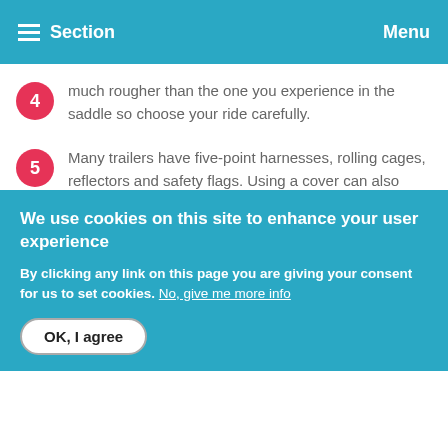Section   Menu
much rougher than the one you experience in the saddle so choose your ride carefully.
Many trailers have five-point harnesses, rolling cages, reflectors and safety flags. Using a cover can also help prevent materials from flying into your infant's eyes.
Resources
[Figure (other): Thumbnail image for a resource]
OTHER RESOURCE
We use cookies on this site to enhance your user experience
By clicking any link on this page you are giving your consent for us to set cookies. No, give me more info
OK, I agree